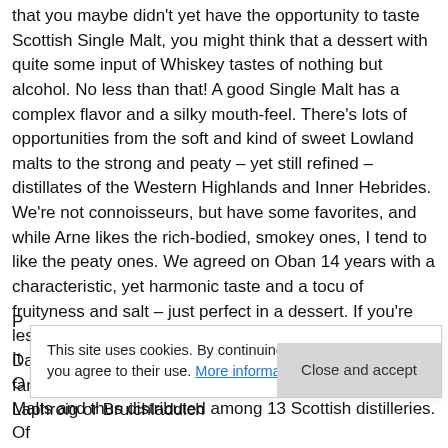that you maybe didn't yet have the opportunity to taste Scottish Single Malt, you might think that a dessert with quite some input of Whiskey tastes of nothing but alcohol. No less than that! A good Single Malt has a complex flavor and a silky mouth-feel. There's lots of opportunities from the soft and kind of sweet Lowland malts to the strong and peaty – yet still refined – distillates of the Western Highlands and Inner Hebrides. We're not connoisseurs, but have some favorites, and while Arne likes the rich-bodied, smokey ones, I tend to like the peaty ones. We agreed on Oban 14 years with a characteristic, yet harmonic taste and a tocu of fruityness and salt – just perfect in a dessert. If you're less experienced, you might want to start with a softer Dalwhinnie or Glenmorangie, and if you want a truly fancy touch in your chocolate cake, why not trying Laphroig or Bruichladdich
P...
It...
O...
This site uses cookies. By continuing to use this website, you agree to their use. More information
Close and accept
Malts and thus distributed among 13 Scottish distilleries. Of